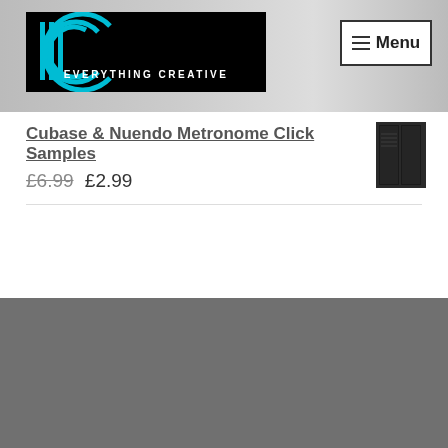[Figure (screenshot): Everything Creative website header banner with logo and menu button]
Cubase & Nuendo Metronome Click Samples
£6.99 £2.99
[Figure (screenshot): SoundCloud embedded player for Man From Mars audio with waveform and 4:45 duration]